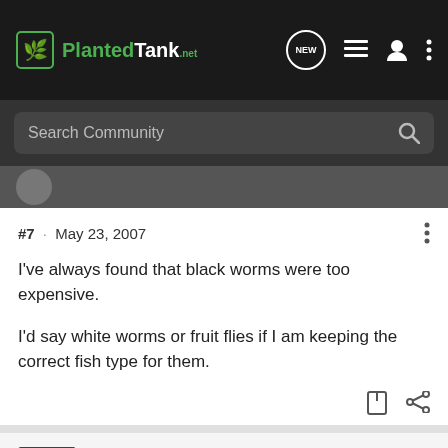PlantedTank
Search Community
#7 · May 23, 2007
I've always found that black worms were too expensive.

I'd say white worms or fruit flies if I am keeping the correct fish type for them.
knuggs · Registered 🇺🇸
Joined Mar 4, 2007 · 1,421 Posts